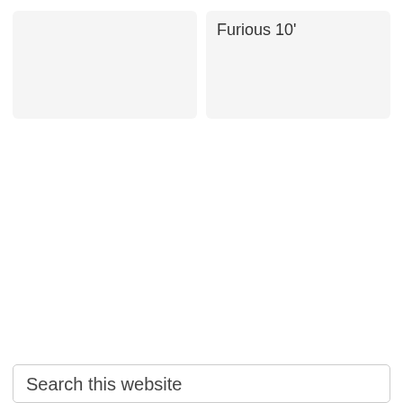[Figure (other): Left card - light gray background, empty content area]
Furious 10'
Search this website